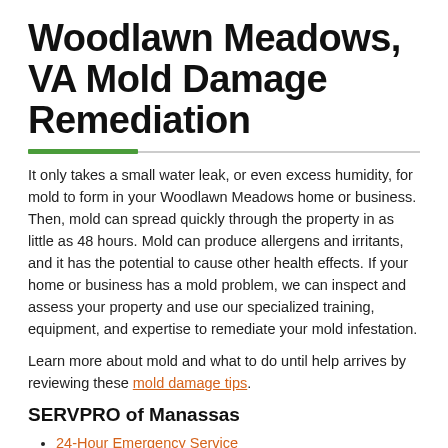Woodlawn Meadows, VA Mold Damage Remediation
It only takes a small water leak, or even excess humidity, for mold to form in your Woodlawn Meadows home or business. Then, mold can spread quickly through the property in as little as 48 hours. Mold can produce allergens and irritants, and it has the potential to cause other health effects. If your home or business has a mold problem, we can inspect and assess your property and use our specialized training, equipment, and expertise to remediate your mold infestation.
Learn more about mold and what to do until help arrives by reviewing these mold damage tips.
SERVPRO of Manassas
24-Hour Emergency Service
Faster to Any Size Disaster